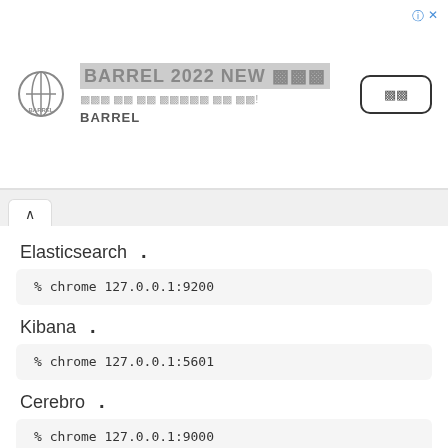[Figure (other): BARREL 2022 NEW advertisement banner with BARREL logo, Korean subtitle text, and a button]
Elasticsearch .
% chrome 127.0.0.1:9200
Kibana .
% chrome 127.0.0.1:5601
Cerebro .
% chrome 127.0.0.1:9000